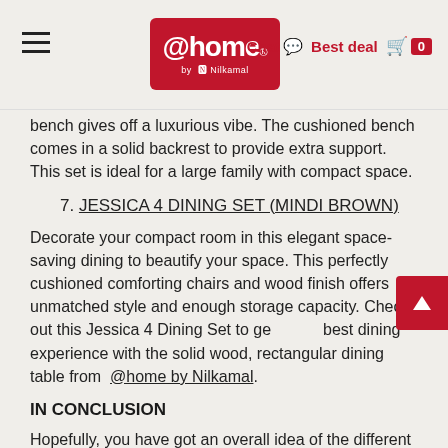@home by Nilkamal — Chat | Best deal | Cart 0
bench gives off a luxurious vibe. The cushioned bench comes in a solid backrest to provide extra support. This set is ideal for a large family with compact space.
7. JESSICA 4 DINING SET (MINDI BROWN)
Decorate your compact room in this elegant space-saving dining to beautify your space. This perfectly cushioned comforting chairs and wood finish offers unmatched style and enough storage capacity. Check out this Jessica 4 Dining Set to get best dining experience with the solid wood, rectangular dining table from @home by Nilkamal.
IN CONCLUSION
Hopefully, you have got an overall idea of the different range of dining table sets. So, which one is your favorite? Explore more dining table designs to find that perfect set to light up